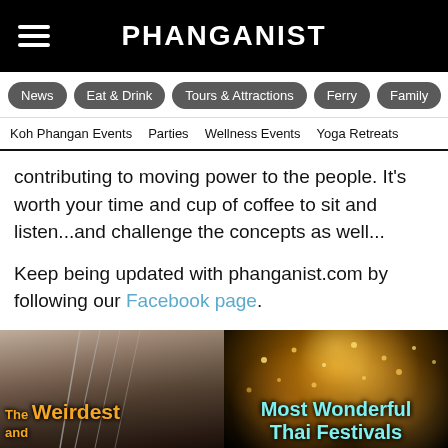PHANGANIST
News
Eat & Drink
Tours & Attractions
Ferry
Family
Koh Phangan Events
Parties
Wellness Events
Yoga Retreats
contributing to moving power to the people. It's worth your time and cup of coffee to sit and listen...and challenge the concepts as well...
Keep being updated with phanganist.com by following our Facebook page.
[Figure (photo): Promotional image split into two halves. Left half shows a crowd at a festival with stick/umbrella decorations. Right half shows floating lanterns in the night sky. Overlaid text reads 'The Weirdest and Most Wonderful Thai Festivals']